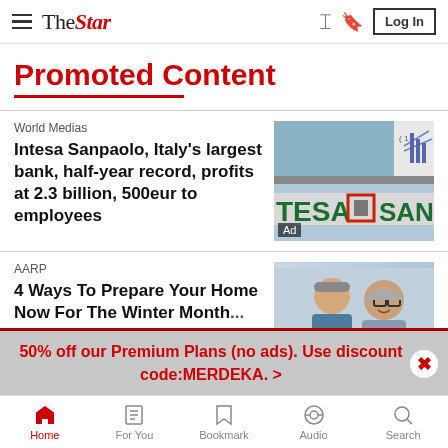The Star — hamburger menu, share, bookmark, Log In
Promoted Content
World Medias
Intesa Sanpaolo, Italy's largest bank, half-year record, profits at 2.3 billion, 500eur to employees
[Figure (photo): Photo of Intesa Sanpaolo bank sign with TESA SANPAOLO lettering visible]
AARP
4 Ways To Prepare Your Home Now For The Winter Month...
[Figure (photo): Photo of two elderly people smiling]
50% off our Premium Plans (no ads). Use discount code:MERDEKA. >
Home | For You | Bookmark | Audio | Search